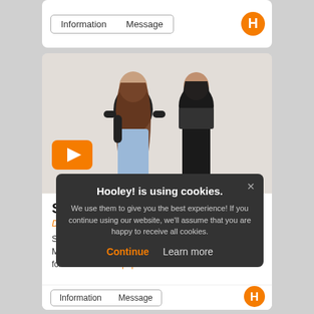[Figure (screenshot): Top navigation card with Information and Message tab buttons and Hooley logo]
[Figure (photo): Two women standing against white background — Saint Sister music duo. Orange play button overlay. Video metadata badges: Jul 2015, 58.9K views, 4:18]
Saint Sister
Dublin
Saint Sister, formed 2014, are an Irish musical duo from MacIntyre & Gem… folk and electronic pop.
[Figure (screenshot): Bottom navigation bar with Information and Message tabs and Hooley logo]
Hooley! is using cookies. We use them to give you the best experience! If you continue using our website, we'll assume that you are happy to receive all cookies.
Continue   Learn more